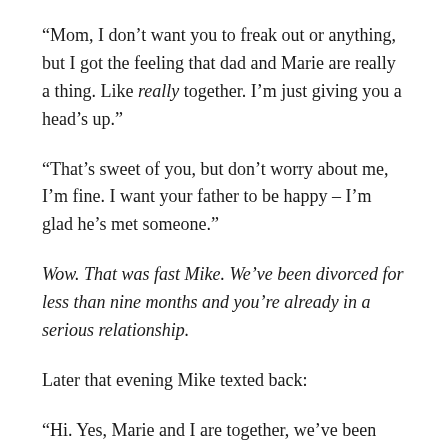“Mom, I don’t want you to freak out or anything, but I got the feeling that dad and Marie are really a thing. Like really together. I’m just giving you a head’s up.”
“That’s sweet of you, but don’t worry about me, I’m fine. I want your father to be happy – I’m glad he’s met someone.”
Wow. That was fast Mike. We’ve been divorced for less than nine months and you’re already in a serious relationship.
Later that evening Mike texted back:
“Hi. Yes, Marie and I are together, we’ve been